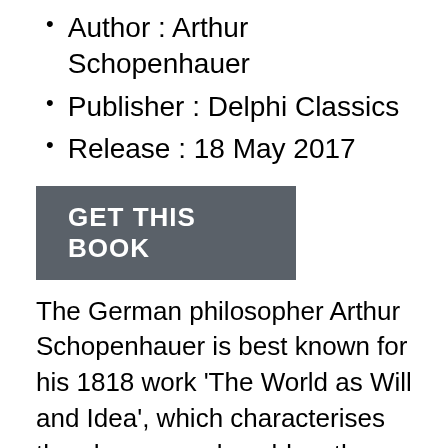Author : Arthur Schopenhauer
Publisher : Delphi Classics
Release : 18 May 2017
[Figure (other): GET THIS BOOK button — a dark grey rectangular button with white bold text reading 'GET THIS BOOK']
The German philosopher Arthur Schopenhauer is best known for his 1818 work 'The World as Will and Idea', which characterises the phenomenal world as the product of a blind and insatiable metaphysical will. Proceeding from the transcendental idealism of Kant, Schopenhauer developed an atheistic metaphysical and ethical system that is viewed by many as an exemplary manifestation of philosophical pessimism. His works on aesthetics, morality and